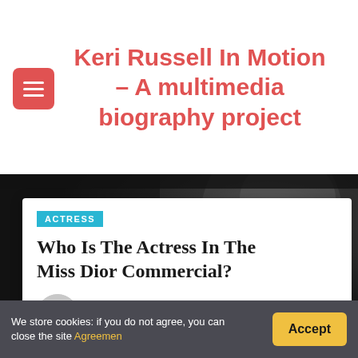Keri Russell In Motion – A multimedia biography project
[Figure (photo): Dark black and white portrait photo of a woman, used as background behind article card]
ACTRESS
Who Is The Actress In The Miss Dior Commercial?
Polly Humble
We store cookies: if you do not agree, you can close the site Agreemen